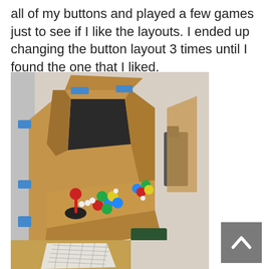all of my buttons and played a few games just to see if I like the layouts. I ended up changing the button layout 3 times until I found the one that I liked.
[Figure (photo): A DIY cardboard arcade cabinet with colorful arcade buttons and a joystick on the control panel. The cabinet is made of cardboard held together with blue tape, and is sitting in what appears to be a workshop or garage.]
[Figure (photo): Bottom portion of another photo showing cardboard and what appears to be a paper template on a work surface.]